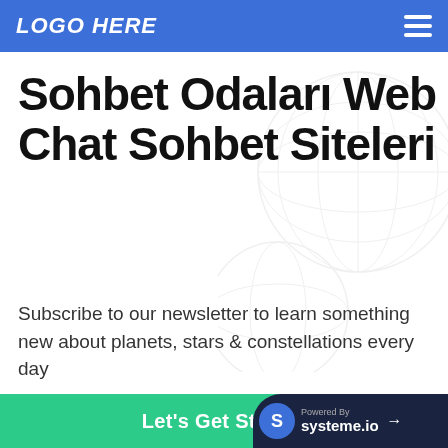LOGO HERE
Sohbet Odaları Web Chat Sohbet Siteleri
Subscribe to our newsletter to learn something new about planets, stars & constellations every day
Enter your email address
Let's Get Started
Powered by systeme.io →